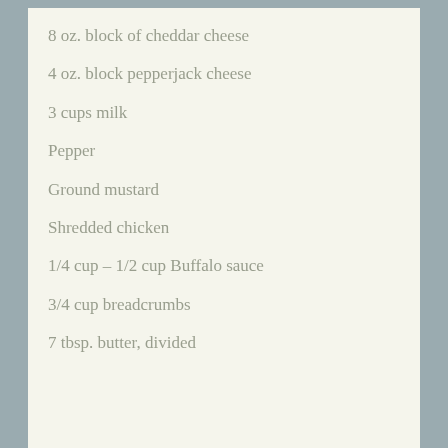8 oz. block of cheddar cheese
4 oz. block pepperjack cheese
3 cups milk
Pepper
Ground mustard
Shredded chicken
1/4 cup – 1/2 cup Buffalo sauce
3/4 cup breadcrumbs
7 tbsp. butter, divided